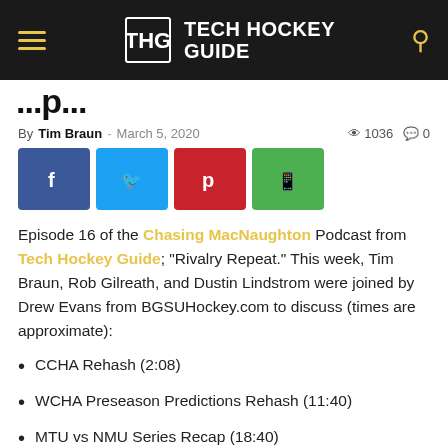TECH HOCKEY GUIDE
...p...
By Tim Braun - March 5, 2020   1036   0
[Figure (other): Social share buttons: Facebook, Twitter, Pinterest, WhatsApp]
Episode 16 of the Chasing MacNaughton Podcast from Tech Hockey Guide; "Rivalry Repeat." This week, Tim Braun, Rob Gilreath, and Dustin Lindstrom were joined by Drew Evans from BGSUHockey.com to discuss (times are approximate):
CCHA Rehash (2:08)
WCHA Preseason Predictions Rehash (11:40)
MTU vs NMU Series Recap (18:40)
Questions (24:17)
WCHA Playoff Money/Streaming (31:07)